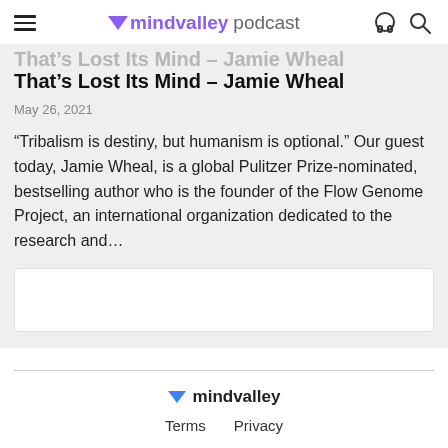mindvalley podcast
That's Lost Its Mind – Jamie Wheal
May 26, 2021
“Tribalism is destiny, but humanism is optional.” Our guest today, Jamie Wheal, is a global Pulitzer Prize-nominated, bestselling author who is the founder of the Flow Genome Project, an international organization dedicated to the research and…
[Figure (other): Empty white content box/placeholder]
mindvalley  Terms  Privacy